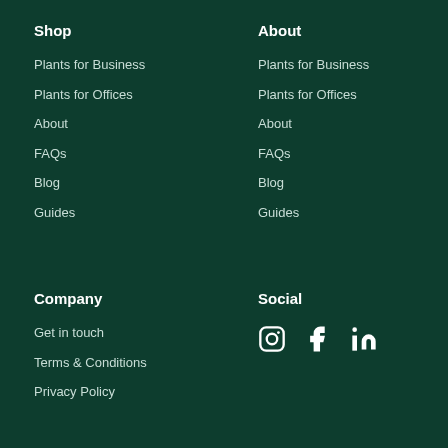Shop
Plants for Business
Plants for Offices
About
FAQs
Blog
Guides
About
Plants for Business
Plants for Offices
About
FAQs
Blog
Guides
Company
Get in touch
Terms & Conditions
Privacy Policy
Social
[Figure (illustration): Social media icons: Instagram, Facebook, LinkedIn]